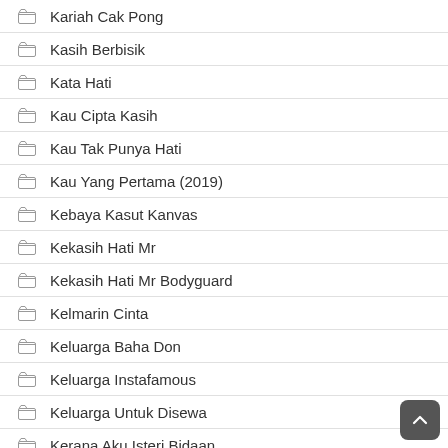Kariah Cak Pong
Kasih Berbisik
Kata Hati
Kau Cipta Kasih
Kau Tak Punya Hati
Kau Yang Pertama (2019)
Kebaya Kasut Kanvas
Kekasih Hati Mr
Kekasih Hati Mr Bodyguard
Kelmarin Cinta
Keluarga Baha Don
Keluarga Instafamous
Keluarga Untuk Disewa
Kerana Aku Isteri Bidaan
Kerana Dia Menanti Dia